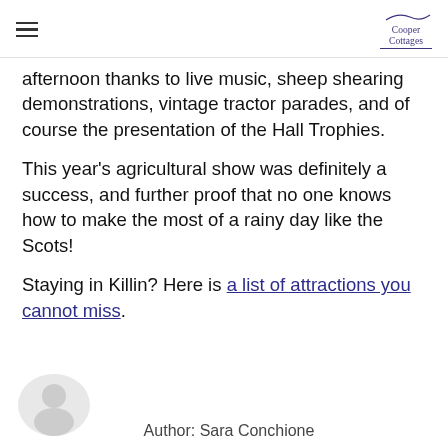Cooper Cottages
afternoon thanks to live music, sheep shearing demonstrations, vintage tractor parades, and of course the presentation of the Hall Trophies.
This year's agricultural show was definitely a success, and further proof that no one knows how to make the most of a rainy day like the Scots!
Staying in Killin? Here is a list of attractions you cannot miss.
Author: Sara Conchione